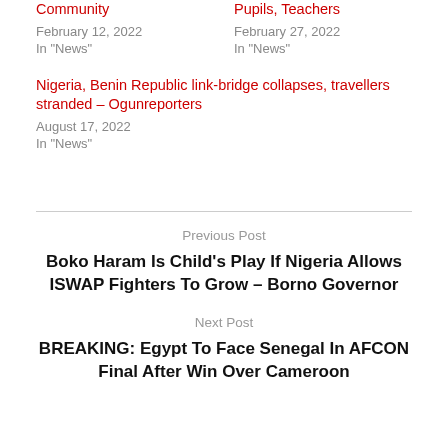Community
February 12, 2022
In "News"
Pupils, Teachers
February 27, 2022
In "News"
Nigeria, Benin Republic link-bridge collapses, travellers stranded – Ogunreporters
August 17, 2022
In "News"
Previous Post
Boko Haram Is Child's Play If Nigeria Allows ISWAP Fighters To Grow – Borno Governor
Next Post
BREAKING: Egypt To Face Senegal In AFCON Final After Win Over Cameroon